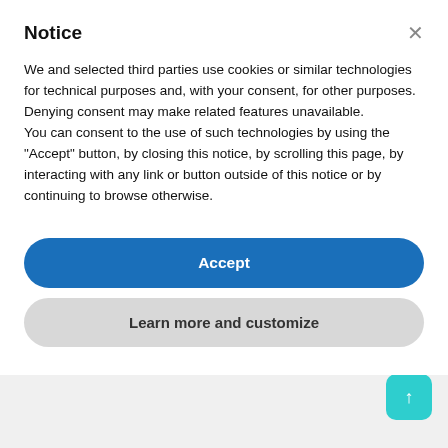Notice
We and selected third parties use cookies or similar technologies for technical purposes and, with your consent, for other purposes. Denying consent may make related features unavailable.
You can consent to the use of such technologies by using the “Accept” button, by closing this notice, by scrolling this page, by interacting with any link or button outside of this notice or by continuing to browse otherwise.
Accept
Learn more and customize
Fees payable in respect of the Initial Subscription Term; and